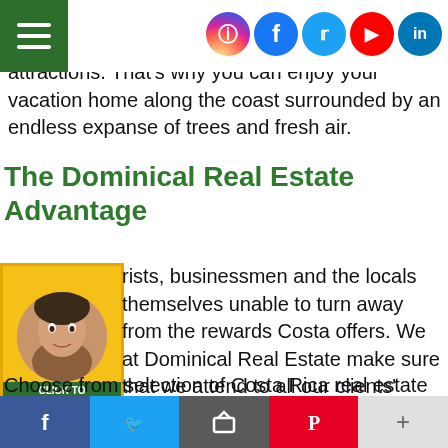Social media icons: Instagram, Facebook, Twitter, YouTube, LinkedIn
ment from the steady development of properties hout destroying the surrounding natural attractions. That's why you can enjoy your vacation home along the coast surrounded by an endless expanse of trees and fresh air.
The Dominical Real Estate Advantage
[Figure (other): Click to Live Chat widget with woman's face photo, yellow background, green label reading CLICK TO LIVE CHAT]
rists, businessmen and the locals themselves unable to turn away from the rewards Costa offers. We at Dominical Real Estate make sure that we attend to all our clients' needs in finding or selling their land or their dream home.
Choose from selection of Costa Rica real estate for sale located across the country's coastline. These areas are perfect if you want to enjoy some privacy or capitalize on the business of providing a safe and
Facebook | Twitter | Share | Pinterest | More